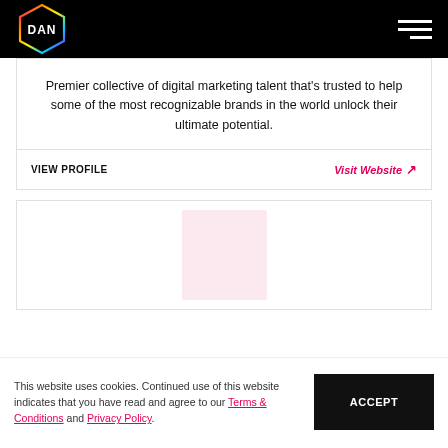DAN logo and navigation hamburger menu
Premier collective of digital marketing talent that's trusted to help some of the most recognizable brands in the world unlock their ultimate potential.
VIEW PROFILE   Visit Website ↗
[Figure (other): Light pink placeholder image rectangle inside a card]
This website uses cookies. Continued use of this website indicates that you have read and agree to our Terms & Conditions and Privacy Policy. ACCEPT